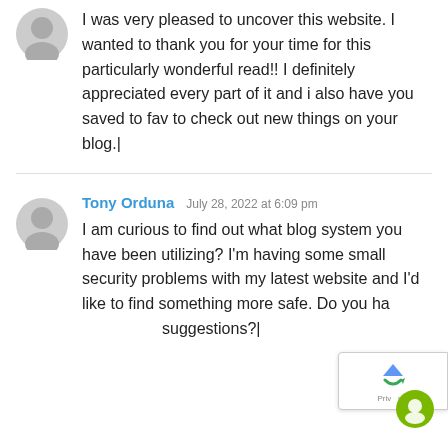I was very pleased to uncover this website. I wanted to thank you for your time for this particularly wonderful read!! I definitely appreciated every part of it and i also have you saved to fav to check out new things on your blog.|
Tony Orduna  July 28, 2022 at 6:09 pm
I am curious to find out what blog system you have been utilizing? I'm having some small security problems with my latest website and I'd like to find something more safe. Do you have any suggestions?|